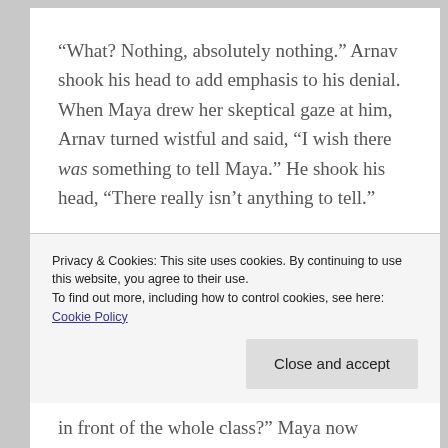“What? Nothing, absolutely nothing.” Arnav shook his head to add emphasis to his denial. When Maya drew her skeptical gaze at him, Arnav turned wistful and said, “I wish there was something to tell Maya.” He shook his head, “There really isn’t anything to tell.”
Privacy & Cookies: This site uses cookies. By continuing to use this website, you agree to their use.
To find out more, including how to control cookies, see here: Cookie Policy
in front of the whole class?” Maya now nodded